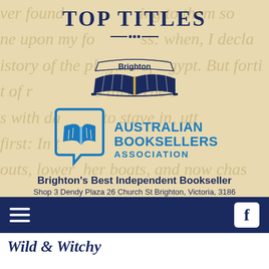TOP TITLES
[Figure (logo): Brighton bookstore open book logo with 'Brighton' banner]
[Figure (logo): Australian Booksellers Association logo - speech bubble with open book icon and text 'AUSTRALIAN BOOKSELLERS ASSOCIATION']
Brighton's Best Independent Bookseller
Shop 3 Dendy Plaza 26 Church St Brighton, Victoria, 3186
PH: (03) 9553 8033
Search the book
Wild & Witchy